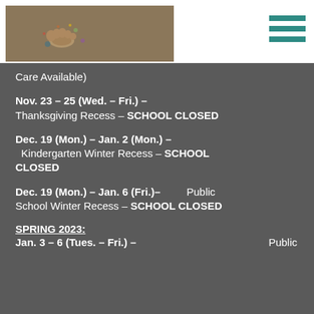[Figure (photo): Child's feet with colorful paint on them, seen from above on a painted surface]
Care Available)
Nov. 23 – 25 (Wed. – Fri.) – Thanksgiving Recess – SCHOOL CLOSED
Dec. 19 (Mon.) – Jan. 2 (Mon.) – Kindergarten Winter Recess – SCHOOL CLOSED
Dec. 19 (Mon.) – Jan. 6 (Fri.)– Public School Winter Recess – SCHOOL CLOSED
SPRING 2023:
Jan. 3 – 6 (Tues. – Fri.) –   Public